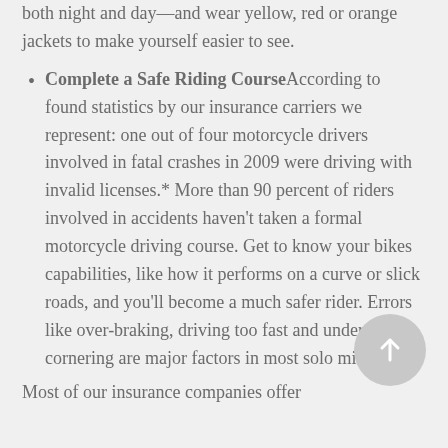both night and day—and wear yellow, red or orange jackets to make yourself easier to see.
Complete a Safe Riding Course According to found statistics by our insurance carriers we represent: one out of four motorcycle drivers involved in fatal crashes in 2009 were driving with invalid licenses.* More than 90 percent of riders involved in accidents haven't taken a formal motorcycle driving course. Get to know your bikes capabilities, like how it performs on a curve or slick roads, and you'll become a much safer rider. Errors like over-braking, driving too fast and under-cornering are major factors in most solo mishaps.
Most of our insurance companies offer